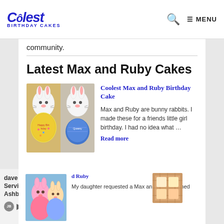Coolest Birthday Cakes — MENU
community.
Latest Max and Ruby Cakes
[Figure (photo): Two Max and Ruby bunny rabbit birthday cakes side by side. Left cake is yellow with 'Happy Birthday' text, right cake is blue with 'Queeny' text.]
Coolest Max and Ruby Birthday Cake
Max and Ruby are bunny rabbits. I made these for a friends little girl birthday. I had no idea what …
Read more
[Figure (photo): Max and Ruby themed birthday cake with bunny characters in pink and blue colors]
d Ruby
dave & buster's Customer Service/Sales Jobs in Ashburn Apply Now
jobble.com
My daughter requested a Max and Ruby-themed